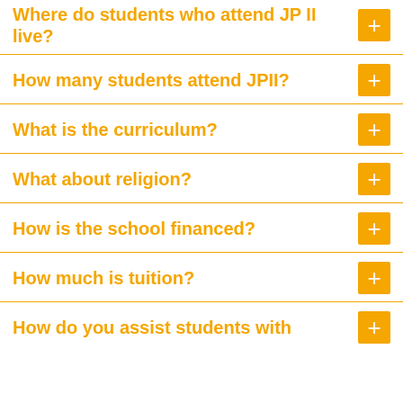Where do students who attend JP II live?
How many students attend JPII?
What is the curriculum?
What about religion?
How is the school financed?
How much is tuition?
How do you assist students with